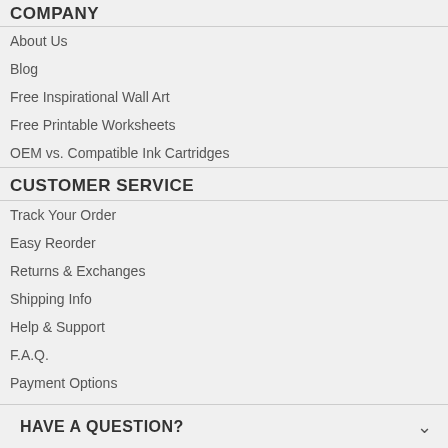COMPANY
About Us
Blog
Free Inspirational Wall Art
Free Printable Worksheets
OEM vs. Compatible Ink Cartridges
CUSTOMER SERVICE
Track Your Order
Easy Reorder
Returns & Exchanges
Shipping Info
Help & Support
F.A.Q.
Payment Options
HAVE A QUESTION?